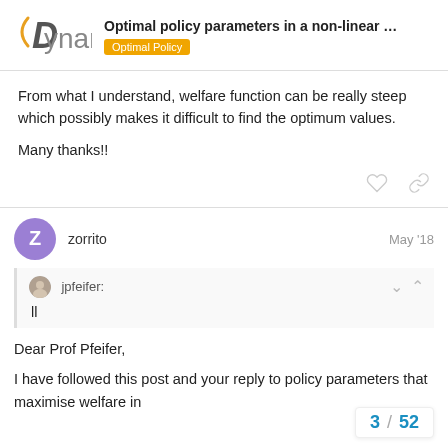Optimal policy parameters in a non-linear ... | Optimal Policy
From what I understand, welfare function can be really steep which possibly makes it difficult to find the optimum values.
Many thanks!!
zorrito  May '18
jpfeifer:
ll
Dear Prof Pfeifer,
I have followed this post and your reply to policy parameters that maximise welfare in
3 / 52